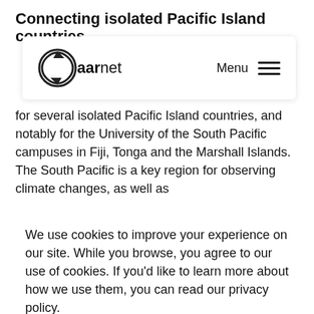Connecting isolated Pacific Island countries
[Figure (screenshot): AARNet navigation bar with logo on the left and Menu hamburger icon on the right]
for several isolated Pacific Island countries, and notably for the University of the South Pacific campuses in Fiji, Tonga and the Marshall Islands. The South Pacific is a key region for observing climate changes, as well as
We use cookies to improve your experience on our site. While you browse, you agree to our use of cookies. If you'd like to learn more about how we use them, you can read our privacy policy.
Yes, I accept